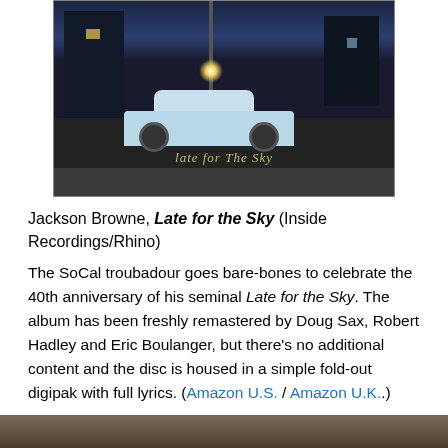[Figure (photo): Album cover for Jackson Browne's Late for the Sky - shows a vintage light blue car parked on a dark street at night with a streetlight, a building in the background, and the album title in stylized script at the bottom of the image.]
Jackson Browne, Late for the Sky (Inside Recordings/Rhino)
The SoCal troubadour goes bare-bones to celebrate the 40th anniversary of his seminal Late for the Sky. The album has been freshly remastered by Doug Sax, Robert Hadley and Eric Boulanger, but there's no additional content and the disc is housed in a simple fold-out digipak with full lyrics. (Amazon U.S. / Amazon U.K.)
[Figure (photo): Bottom portion of another image, appears to be a cropped photo of a person.]